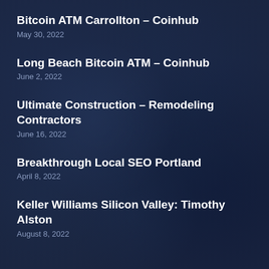Bitcoin ATM Carrollton – Coinhub
May 30, 2022
Long Beach Bitcoin ATM – Coinhub
June 2, 2022
Ultimate Construction – Remodeling Contractors
June 16, 2022
Breakthrough Local SEO Portland
April 8, 2022
Keller Williams Silicon Valley: Timothy Alston
August 8, 2022